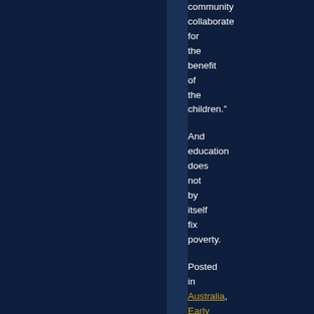community collaborate for the benefit of the children."
And education does not by itself fix poverty.
Posted in Australia, Early Childhood, Education,